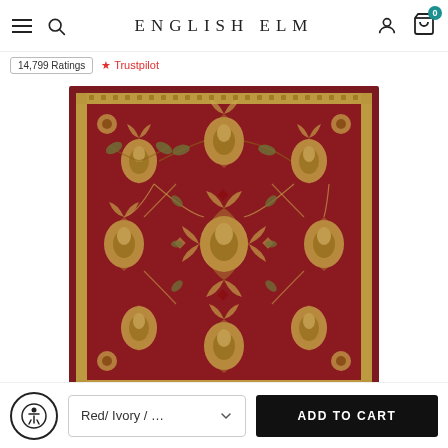ENGLISH ELM
14,799 Ratings  · Trustpilot
[Figure (photo): A square traditional Persian-style area rug with deep red background and gold/ivory/sage floral and medallion patterns, with a decorative border.]
Red/ Ivory / ...
ADD TO CART